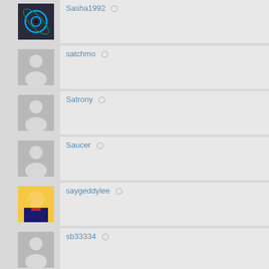Sasha1992
satchmo
Satrony
Saucer
saygeddylee
sb33334
scadanry
schizoidman